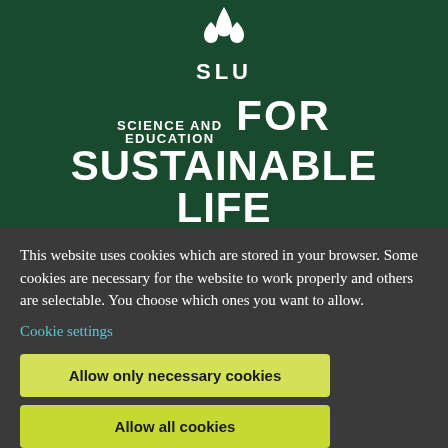[Figure (logo): SLU logo: white stylized plant/leaf icon above the letters SLU in white on dark green background]
SCIENCE AND EDUCATION FOR SUSTAINABLE LIFE
This website uses cookies which are stored in your browser. Some cookies are necessary for the website to work properly and others are selectable. You choose which ones you want to allow.
Cookie settings
Allow only necessary cookies
Allow all cookies